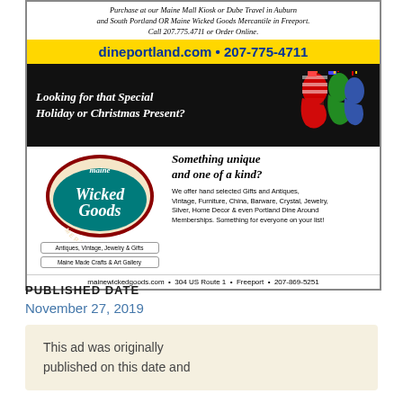Purchase at our Maine Mall Kiosk or Dube Travel in Auburn and South Portland OR Maine Wicked Goods Mercantile in Freeport. Call 207.775.4711 or Order Online.
dineportland.com • 207-775-4711
Looking for that Special Holiday or Christmas Present?
[Figure (illustration): Christmas stockings filled with gifts and candy canes]
[Figure (logo): Maine Wicked Goods Mercantile logo]
Something unique and one of a kind?
Antiques, Vintage, Jewelry & Gifts
Maine Made Crafts & Art Gallery
We offer hand selected Gifts and Antiques, Vintage, Furniture, China, Barware, Crystal, Jewelry, Silver, Home Decor & even Portland Dine Around Memberships. Something for everyone on your list!
mainewickedgoods.com • 304 US Route 1 • Freeport • 207-869-5251
PUBLISHED DATE
November 27, 2019
This ad was originally published on this date and